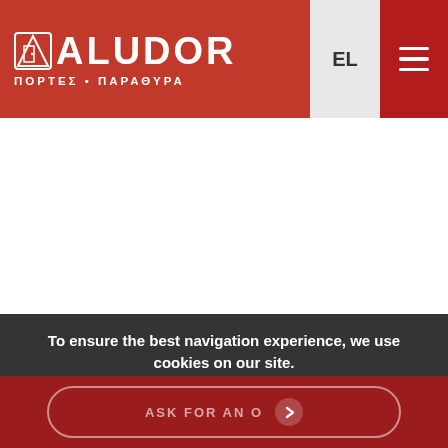[Figure (logo): Aludor logo with stylized A icon, text ALUDOR and Greek text ΠΟΡΤΕΣ - ΠΑΡΑΘΥΡΑ on red background]
EL
To ensure the best navigation experience, we use cookies on our site.
OK
Learn more
ASK FOR AN O...